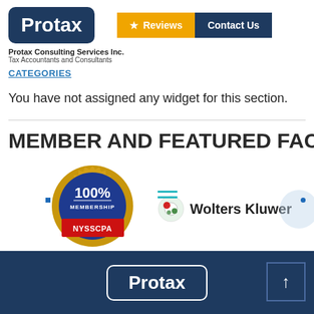[Figure (logo): Protax logo - white text on dark navy rounded rectangle]
[Figure (other): Reviews button (orange with star) and Contact Us button (navy)]
Protax Consulting Services Inc.
Tax Accountants and Consultants
CATEGORIES
You have not assigned any widget for this section.
MEMBER AND FEATURED FAC
[Figure (logo): 100% Membership NYSSCPA badge - circular gold seal with blue center]
[Figure (logo): Wolters Kluwer logo with globe icon]
[Figure (logo): Protax logo in footer - white text, white border on dark navy background]